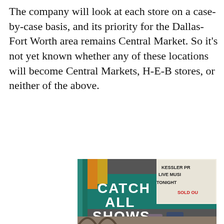The company will look at each store on a case-by-case basis, and its priority for the Dallas-Fort Worth area remains Central Market. So it's not yet known whether any of these locations will become Central Markets, H-E-B stores, or neither of the above.
[Figure (photo): Advertisement photo showing a theater/venue exterior at night with teal and yellow neon signage. A marquee reads 'KESSLER PR LIVE MUSI TONIGHT SOLD OU'. Large white bold text overlaid reads 'CATCH ALL SHOWS'. Two people (a woman with red hair and a man) stand in front of the venue.]